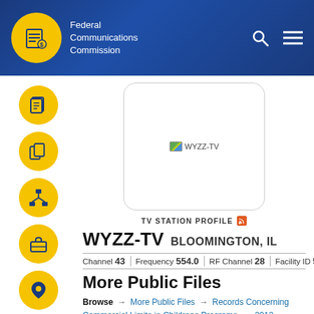Federal Communications Commission
[Figure (screenshot): WYZZ-TV station logo placeholder image]
TV STATION PROFILE
WYZZ-TV  BLOOMINGTON, IL
Channel 43  Frequency 554.0  RF Channel 28  Facility ID 5875
More Public Files
Browse → More Public Files → Records Concerning Commercial Limits in Childrens Programs → 2012 Childrens Commercial Limits